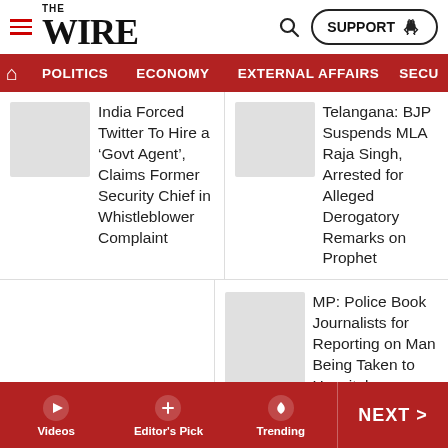THE WIRE
POLITICS | ECONOMY | EXTERNAL AFFAIRS | SECU
India Forced Twitter To Hire a ‘Govt Agent’, Claims Former Security Chief in Whistleblower Complaint
Telangana: BJP Suspends MLA Raja Singh, Arrested for Alleged Derogatory Remarks on Prophet
MP: Police Book Journalists for Reporting on Man Being Taken to Hospital on a
Videos | Editor's Pick | Trending | NEXT >